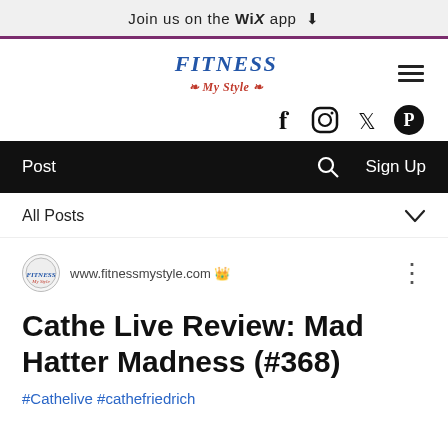Join us on the WiX app ⬇
[Figure (logo): Fitness My Style logo with blue italic 'FITNESS' text and red italic 'My Style' subtitle]
[Figure (other): Hamburger menu icon (three horizontal lines)]
[Figure (other): Social media icons row: Facebook, Instagram, Twitter, Pinterest]
Post   🔍   Sign Up
All Posts ∨
[Figure (logo): Small circular Fitness My Style avatar logo]
www.fitnessmystyle.com 👑
Cathe Live Review: Mad Hatter Madness (#368)
#Cathelive #cathefriedrich